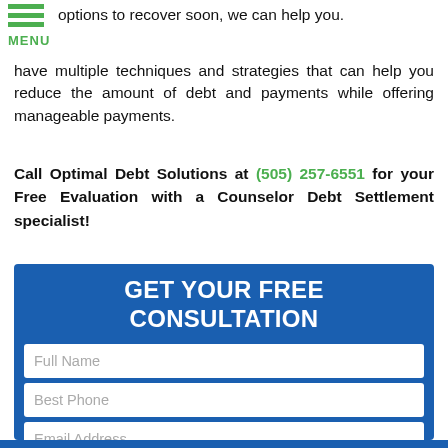options to recover soon, we can help you.
have multiple techniques and strategies that can help you reduce the amount of debt and payments while offering manageable payments.
Call Optimal Debt Solutions at (505) 257-6551 for your Free Evaluation with a Counselor Debt Settlement specialist!
[Figure (infographic): Blue consultation form box with title GET YOUR FREE CONSULTATION and input fields for Full Name, Best Phone, Email Address, How Can We Help You With Your Debt?, with green phone and email icon buttons]